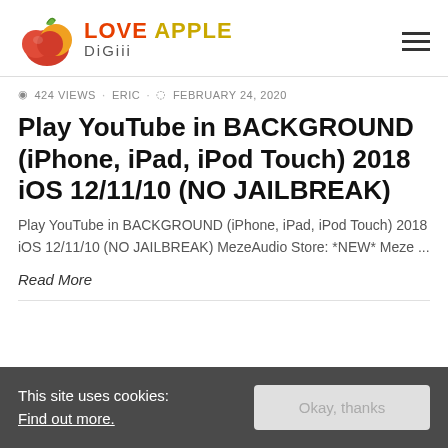LOVE APPLE DiGiii
424 VIEWS · ERIC · FEBRUARY 24, 2020
Play YouTube in BACKGROUND (iPhone, iPad, iPod Touch) 2018 iOS 12/11/10 (NO JAILBREAK)
Play YouTube in BACKGROUND (iPhone, iPad, iPod Touch) 2018 iOS 12/11/10 (NO JAILBREAK) MezeAudio Store: *NEW* Meze ...
Read More
This site uses cookies: Find out more. Okay, thanks